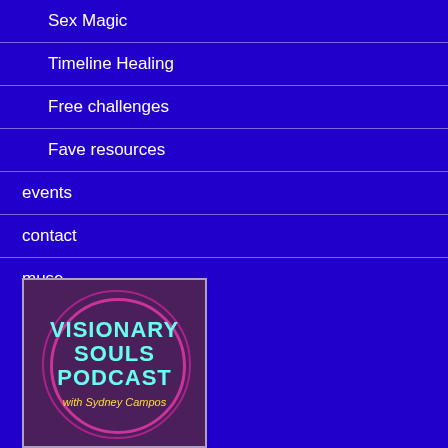Sex Magic
Timeline Healing
Free challenges
Fave resources
events
contact
muse
[Figure (logo): Visionary Souls Podcast logo with Sydney Campos, dark purple background with pink circle design and teal text]